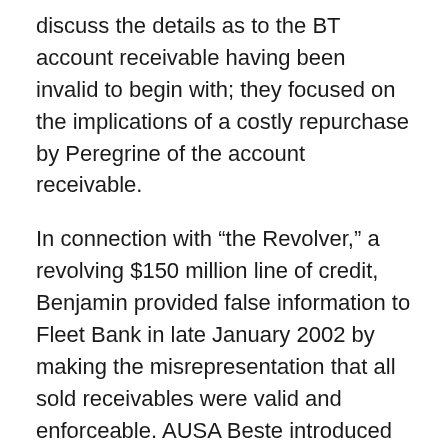discuss the details as to the BT account receivable having been invalid to begin with; they focused on the implications of a costly repurchase by Peregrine of the account receivable.
In connection with “the Revolver,” a revolving $150 million line of credit, Benjamin provided false information to Fleet Bank in late January 2002 by making the misrepresentation that all sold receivables were valid and enforceable. AUSA Beste introduced e-mails from January 2002 indicating that Deller was aware that Benjamin was preparing a wavier for Peregrine’s obligations under the Revolver, and that Benjamin worked with Deller on an amendment to the Revolver. Not all relevant information was disclosed to Fleet Bank when the second Amendment was executed – material omissions included the uncollectible nature of the BT